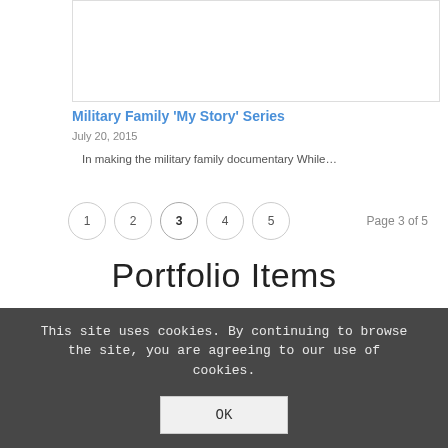[Figure (photo): Image box placeholder for Military Family My Story Series article thumbnail]
Military Family 'My Story' Series
July 20, 2015
In making the military family documentary While…
1 2 3 4 5  Page 3 of 5
Portfolio Items
This site uses cookies. By continuing to browse the site, you are agreeing to our use of cookies.
OK